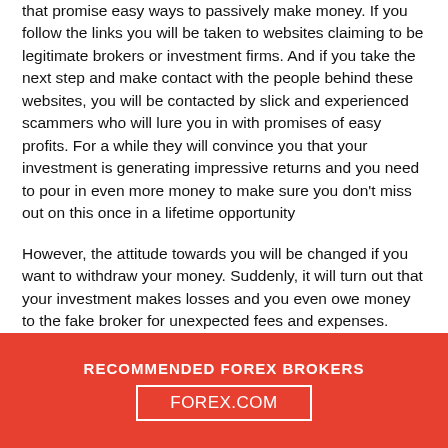that promise easy ways to passively make money. If you follow the links you will be taken to websites claiming to be legitimate brokers or investment firms. And if you take the next step and make contact with the people behind these websites, you will be contacted by slick and experienced scammers who will lure you in with promises of easy profits. For a while they will convince you that your investment is generating impressive returns and you need to pour in even more money to make sure you don't miss out on this once in a lifetime opportunity
However, the attitude towards you will be changed if you want to withdraw your money. Suddenly, it will turn out that your investment makes losses and you even owe money to the fake broker for unexpected fees and expenses. They will show you clauses hidden in the Terms and Conditions, according to which you can only withdraw money after you
RECOMMENDED FOREX BROKERS
FOREX.COM